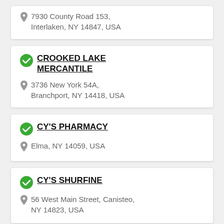7930 County Road 153, Interlaken, NY 14847, USA
CROOKED LAKE MERCANTILE
3736 New York 54A, Branchport, NY 14418, USA
CY'S PHARMACY
Elma, NY 14059, USA
CY'S SHURFINE
56 West Main Street, Canisteo, NY 14823, USA